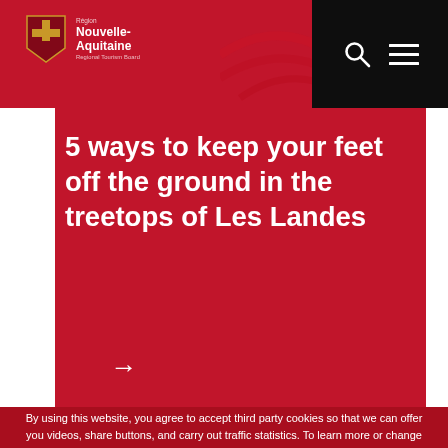[Figure (logo): Nouvelle-Aquitaine region logo with shield and text]
5 ways to keep your feet off the ground in the treetops of Les Landes
→
By using this website, you agree to accept third party cookies so that we can offer you videos, share buttons, and carry out traffic statistics. To learn more or change your preferences, click on the \"Set up\" or \"Cookies preferences\" button at the bottom of the page. To learn more about cookies, visit our Cookies policy.
SET UP
ACCEPT ALL